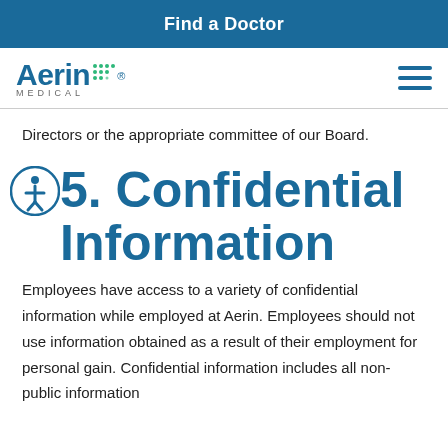Find a Doctor
[Figure (logo): Aerin Medical logo with teal dot-grid pattern and 'MEDICAL' text below]
Directors or the appropriate committee of our Board.
5. Confidential Information
Employees have access to a variety of confidential information while employed at Aerin. Employees should not use information obtained as a result of their employment for personal gain. Confidential information includes all non-public information